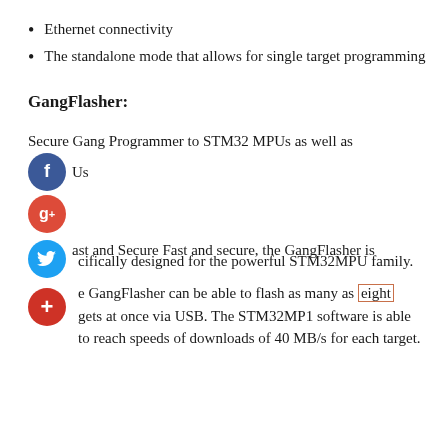Ethernet connectivity
The standalone mode that allows for single target programming
GangFlasher:
Secure Gang Programmer to STM32 MPUs as well as Us
Fast and Secure Fast and secure, the GangFlasher is cifically designed for the powerful STM32MPU family. The GangFlasher can be able to flash as many as eight gets at once via USB. The STM32MP1 software is able to reach speeds of downloads of 40 MB/s for each target.